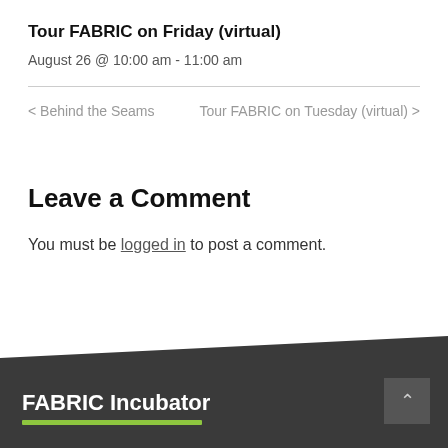Tour FABRIC on Friday (virtual)
August 26 @ 10:00 am - 11:00 am
< Behind the Seams    Tour FABRIC on Tuesday (virtual) >
Leave a Comment
You must be logged in to post a comment.
FABRIC Incubator